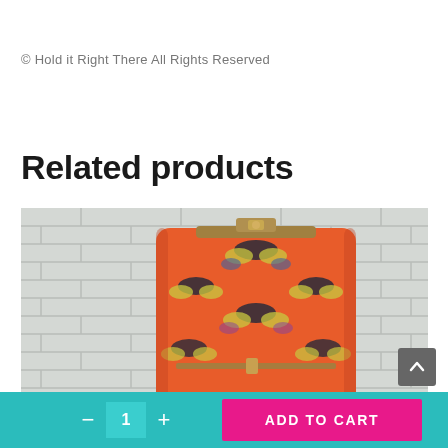© Hold it Right There All Rights Reserved
Related products
[Figure (photo): A colorful orange handbag with butterfly pattern and gold frame clasp, photographed against a white brick wall background.]
- 1 + ADD TO CART